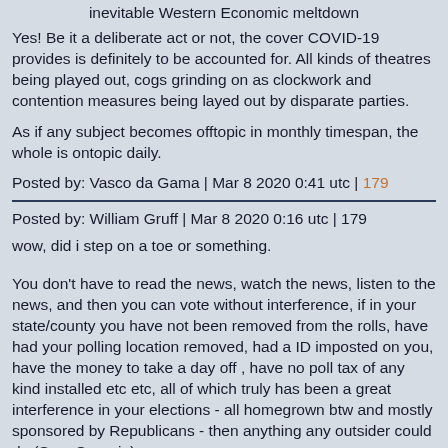inevitable Western Economic meltdown
Yes! Be it a deliberate act or not, the cover COVID-19 provides is definitely to be accounted for. All kinds of theatres being played out, cogs grinding on as clockwork and contention measures being layed out by disparate parties.
As if any subject becomes offtopic in monthly timespan, the whole is ontopic daily.
Posted by: Vasco da Gama | Mar 8 2020 0:41 utc | 179
Posted by: William Gruff | Mar 8 2020 0:16 utc | 179
wow, did i step on a toe or something.
You don't have to read the news, watch the news, listen to the news, and then you can vote without interference, if in your state/county you have not been removed from the rolls, have had your polling location removed, had a ID imposted on you, have the money to take a day off , have no poll tax of any kind installed etc etc, all of which truly has been a great interference in your elections - all homegrown btw and mostly sponsored by Republicans - then anything any outsider could do (See: Georgia)